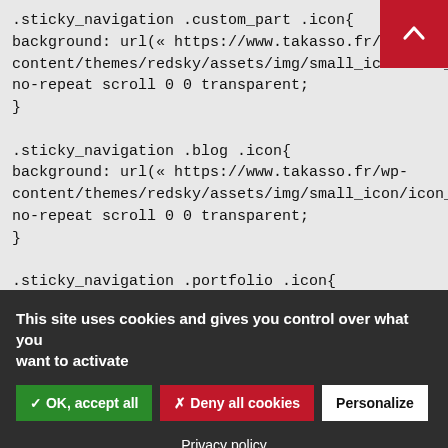.sticky_navigation .custom_part .icon{
background: url(« https://www.takasso.fr/wp-content/themes/redsky/assets/img/small_icon/icon_megaphone_small
no-repeat scroll 0 0 transparent;
}
.sticky_navigation .blog .icon{
background: url(« https://www.takasso.fr/wp-content/themes/redsky/assets/img/small_icon/icon_rocket_small.png »)
no-repeat scroll 0 0 transparent;
}
.sticky_navigation .portfolio .icon{
background: url(« https://www.takasso.fr/wp-content/themes/redsky/assets/img/small_icon/icon_camera_small.png
This site uses cookies and gives you control over what you want to activate
✓ OK, accept all
✗ Deny all cookies
Personalize
Privacy policy